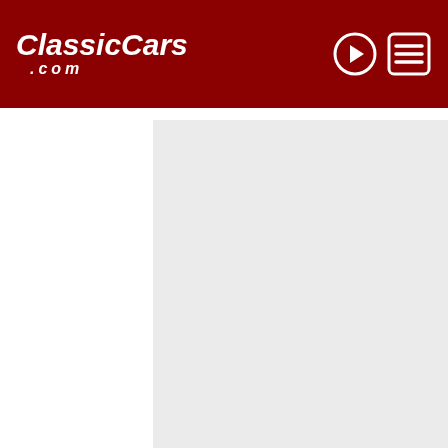ClassicCars.com
[Figure (photo): Placeholder image area with light gray background, likely a car photo]
Listed By:
Worldwide Vintage Autos
4001 Forest St.
Denver , CO 80216
[Figure (illustration): Accessibility / wheelchair icon in black circle]
VIEW OUR LISTINGS